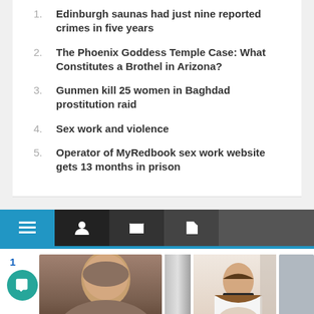Edinburgh saunas had just nine reported crimes in five years
The Phoenix Goddess Temple Case: What Constitutes a Brothel in Arizona?
Gunmen kill 25 women in Baghdad prostitution raid
Sex work and violence
Operator of MyRedbook sex work website gets 13 months in prison
[Figure (screenshot): Website navigation toolbar with menu, user, folder, and tag icons in dark buttons on blue bar]
[Figure (photo): Row of thumbnail photos showing people's faces]
[Figure (screenshot): Social media sharing bar with Facebook, Twitter, Reddit, LinkedIn, Pinterest, MW, Mix, WhatsApp, and share buttons]